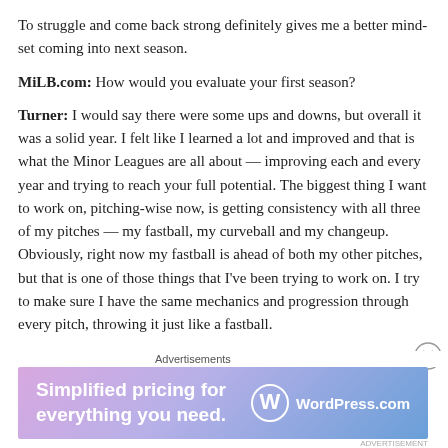To struggle and come back strong definitely gives me a better mind-set coming into next season.
MiLB.com: How would you evaluate your first season?
Turner: I would say there were some ups and downs, but overall it was a solid year. I felt like I learned a lot and improved and that is what the Minor Leagues are all about — improving each and every year and trying to reach your full potential. The biggest thing I want to work on, pitching-wise now, is getting consistency with all three of my pitches — my fastball, my curveball and my changeup. Obviously, right now my fastball is ahead of both my other pitches, but that is one of those things that I've been trying to work on. I try to make sure I have the same mechanics and progression through every pitch, throwing it just like a fastball.
MiLB.com: You got an opportunity to travel a lot with the Whitecaps. What cities have you enjoyed playing in?
[Figure (other): WordPress.com advertisement banner: 'Simplified pricing for everything you need.' with WordPress.com logo on a purple-blue gradient background.]